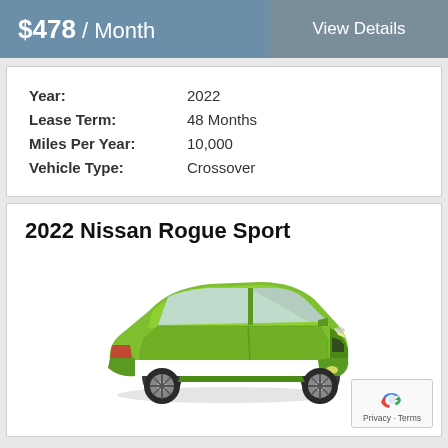$478 / Month
View Details
| Year: | 2022 |
| Lease Term: | 48 Months |
| Miles Per Year: | 10,000 |
| Vehicle Type: | Crossover |
2022 Nissan Rogue Sport
[Figure (photo): Green 2022 Nissan Rogue Sport crossover SUV viewed from the front-left angle]
Privacy · Terms